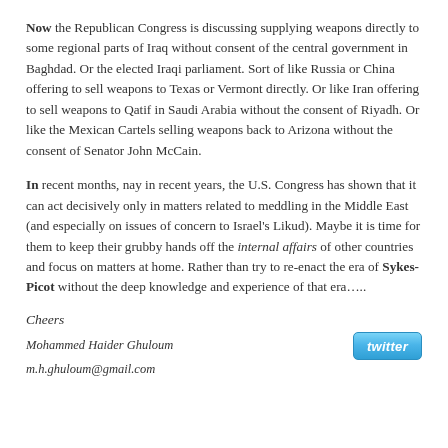Now the Republican Congress is discussing supplying weapons directly to some regional parts of Iraq without consent of the central government in Baghdad. Or the elected Iraqi parliament. Sort of like Russia or China offering to sell weapons to Texas or Vermont directly. Or like Iran offering to sell weapons to Qatif in Saudi Arabia without the consent of Riyadh. Or like the Mexican Cartels selling weapons back to Arizona without the consent of Senator John McCain.
In recent months, nay in recent years, the U.S. Congress has shown that it can act decisively only in matters related to meddling in the Middle East (and especially on issues of concern to Israel's Likud). Maybe it is time for them to keep their grubby hands off the internal affairs of other countries and focus on matters at home. Rather than try to re-enact the era of Sykes-Picot without the deep knowledge and experience of that era…..
Cheers
Mohammed Haider Ghuloum
m.h.ghuloum@gmail.com